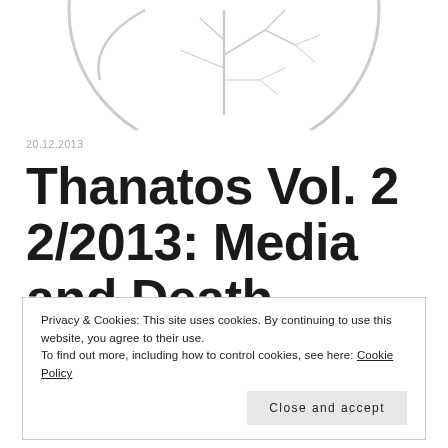[Figure (logo): Circular logo with branch/root illustration in light gray, partially cropped at top of page]
20.12.2013
Thanatos Vol. 2 2/2013: Media and Death
Privacy & Cookies: This site uses cookies. By continuing to use this website, you agree to their use. To find out more, including how to control cookies, see here: Cookie Policy
Close and accept